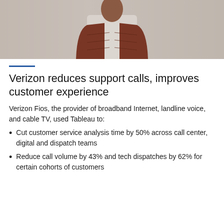[Figure (photo): Person wearing a dark red/maroon plaid blazer over a light shirt, photographed from chest up against a neutral grey-beige background. A white circular outline is visible near the top of the image around the person's head area.]
Verizon reduces support calls, improves customer experience
Verizon Fios, the provider of broadband Internet, landline voice, and cable TV, used Tableau to:
Cut customer service analysis time by 50% across call center, digital and dispatch teams
Reduce call volume by 43% and tech dispatches by 62% for certain cohorts of customers